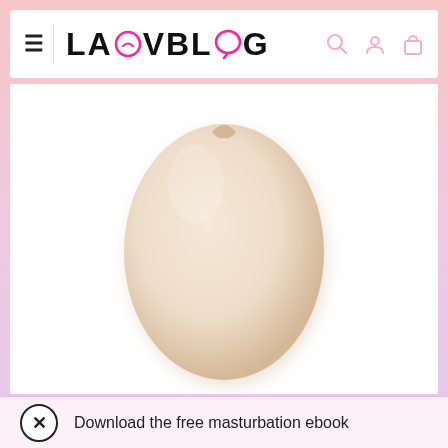LAUVBLOG
[Figure (photo): A smooth, egg-shaped cream/beige colored product photographed against a white background]
Download the free masturbation ebook